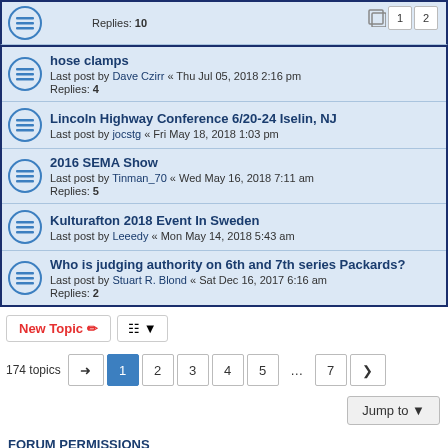Replies: 10
hose clamps — Last post by Dave Czirr « Thu Jul 05, 2018 2:16 pm — Replies: 4
Lincoln Highway Conference 6/20-24 Iselin, NJ — Last post by jocstg « Fri May 18, 2018 1:03 pm
2016 SEMA Show — Last post by Tinman_70 « Wed May 16, 2018 7:11 am — Replies: 5
Kulturafton 2018 Event In Sweden — Last post by Leeedy « Mon May 14, 2018 5:43 am
Who is judging authority on 6th and 7th series Packards? — Last post by Stuart R. Blond « Sat Dec 16, 2017 6:16 am — Replies: 2
174 topics  1 2 3 4 5 ... 7
FORUM PERMISSIONS
You cannot post new topics in this forum
You cannot reply to topics in this forum
You cannot edit your posts in this forum
You cannot delete your posts in this forum